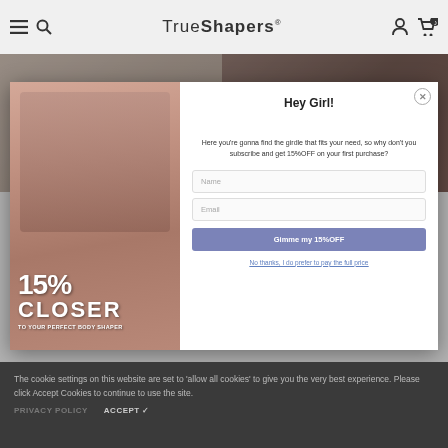TrueShapers
[Figure (photo): Two women modeling body shaper/shapewear garments against a mauve background]
Hey Girl!
Here you're gonna find the girdle that fits your need, so why don't you subscribe and get 15%OFF on your first purchase?
[Figure (infographic): Promotional image showing two women in shapewear with text overlay: 15% CLOSER TO YOUR PERFECT BODY SHAPER]
No thanks, I do prefer to pay the full price
The cookie settings on this website are set to 'allow all cookies' to give you the very best experience. Please click Accept Cookies to continue to use the site.
PRIVACY POLICY    ACCEPT ✓